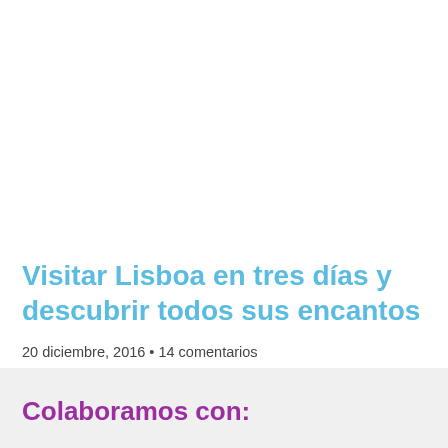Visitar Lisboa en tres días y descubrir todos sus encantos
20 diciembre, 2016 • 14 comentarios
0.5
Colaboramos con: